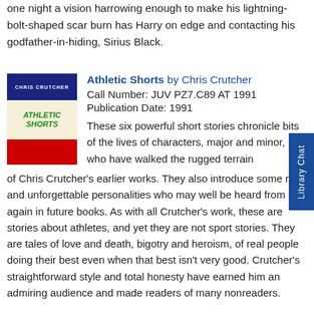one night a vision harrowing enough to make his lightning-bolt-shaped scar burn has Harry on edge and contacting his godfather-in-hiding, Sirius Black.
[Figure (illustration): Book cover of Athletic Shorts by Chris Crutcher, showing the title in green italic text on a cream background with red shorts/fabric below, and the author's name in white on a dark blue banner at top.]
Athletic Shorts by Chris Crutcher
Call Number: JUV PZ7.C89 AT 1991
Publication Date: 1991
These six powerful short stories chronicle bits of the lives of characters, major and minor, who have walked the rugged terrain of Chris Crutcher's earlier works. They also introduce some new and unforgettable personalities who may well be heard from again in future books. As with all Crutcher's work, these are stories about athletes, and yet they are not sport stories. They are tales of love and death, bigotry and heroism, of real people doing their best even when that best isn't very good. Crutcher's straightforward style and total honesty have earned him an admiring audience and made readers of many nonreaders.